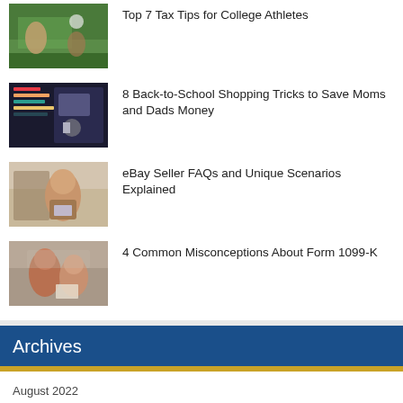[Figure (photo): Baseball player sliding on field]
Top 7 Tax Tips for College Athletes
[Figure (photo): Back-to-school supplies on colorful background]
8 Back-to-School Shopping Tricks to Save Moms and Dads Money
[Figure (photo): Man sitting on couch with laptop smiling]
eBay Seller FAQs and Unique Scenarios Explained
[Figure (photo): Couple looking at document together]
4 Common Misconceptions About Form 1099-K
Archives
August 2022